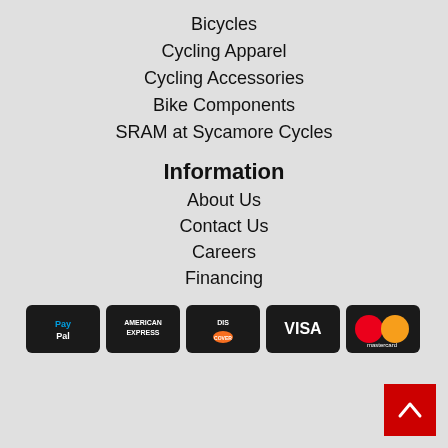Bicycles
Cycling Apparel
Cycling Accessories
Bike Components
SRAM at Sycamore Cycles
Information
About Us
Contact Us
Careers
Financing
[Figure (logo): Payment method icons: PayPal, American Express, Discover, Visa, Mastercard]